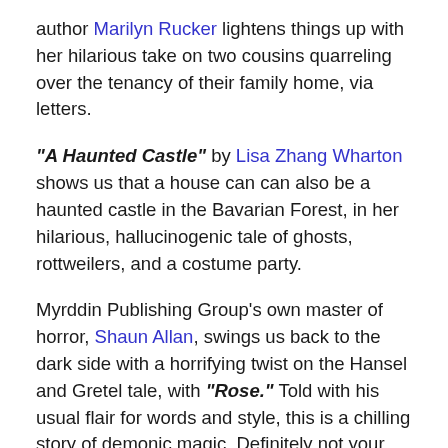author Marilyn Rucker lightens things up with her hilarious take on two cousins quarreling over the tenancy of their family home, via letters.
"A Haunted Castle" by Lisa Zhang Wharton shows us that a house can can also be a haunted castle in the Bavarian Forest, in her hilarious, hallucinogenic tale of ghosts, rottweilers, and a costume party.
Myrddin Publishing Group's own master of horror, Shaun Allan, swings us back to the dark side with a horrifying twist on the Hansel and Gretel tale, with "Rose." Told with his usual flair for words and style, this is a chilling story of demonic magic. Definitely not your mama's Hansel and Gretel!
In "Hidden," Carlie M.A. Cullen takes us deep into the